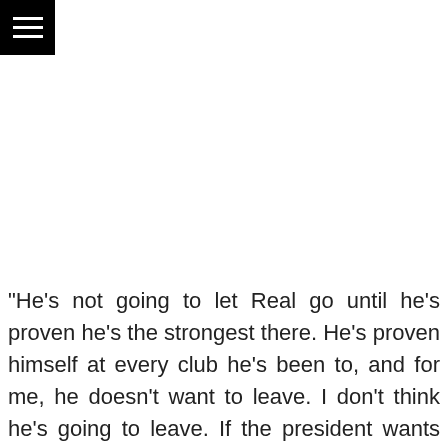[Figure (other): Black square with three horizontal white lines (hamburger menu icon) in the top-left corner]
“He’s not going to let Real go until he’s proven he’s the strongest there. He’s proven himself at every club he’s been to, and for me, he doesn’t want to leave. I don’t think he’s going to leave. If the president wants him to leave, if he knows he has no chance to play, then I don’t think that he will stay.”